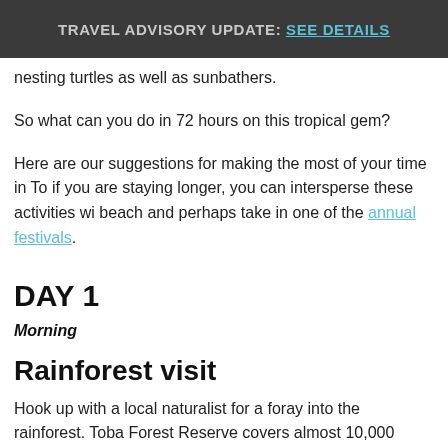TRAVEL ADVISORY UPDATE: See details
nesting turtles as well as sunbathers.
So what can you do in 72 hours on this tropical gem?
Here are our suggestions for making the most of your time in To if you are staying longer, you can intersperse these activities wi beach and perhaps take in one of the annual festivals.
DAY 1
Morning
Rainforest visit
Hook up with a local naturalist for a foray into the rainforest. Toba Forest Reserve covers almost 10,000 acres across the central island and the rainforest area is considered this